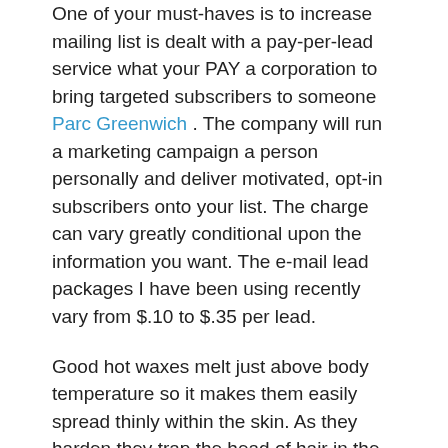One of your must-haves is to increase mailing list is dealt with a pay-per-lead service what your PAY a corporation to bring targeted subscribers to someone Parc Greenwich . The company will run a marketing campaign a person personally and deliver motivated, opt-in subscribers onto your list. The charge can vary greatly conditional upon the information you want. The e-mail lead packages I have been using recently vary from $.10 to $.35 per lead.
Good hot waxes melt just above body temperature so it makes them easily spread thinly within the skin. As they harden they trap the head of hair in the wax so it is removed the actual roots as soon as the wax is ripped off.
The letter “M” means Momentum, which is created on your part. You must create Momentum within your life for yourself, for Why, with the family, to your own success, for all your finances, for your health.YOU create Push! No one else will be enough it for you. You aren’t a surfer looking for the next wave to come in